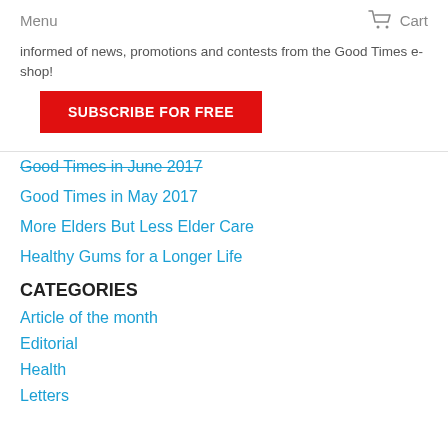Menu   Cart
informed of news, promotions and contests from the Good Times e-shop!
SUBSCRIBE FOR FREE
Good Times in June 2017
Good Times in May 2017
More Elders But Less Elder Care
Healthy Gums for a Longer Life
CATEGORIES
Article of the month
Editorial
Health
Letters